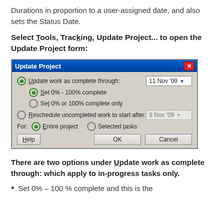Durations in proportion to a user-assigned date, and also sets the Status Date.
Select Tools, Tracking, Update Project... to open the Update Project form:
[Figure (screenshot): Update Project dialog box with options: Update work as complete through (11 Nov '09 date), Set 0% - 100% complete (selected), Set 0% or 100% complete only, Reschedule uncompleted work to start after (9 Nov '09, disabled), For: Entire project (selected) / Selected tasks. Buttons: Help, OK, Cancel.]
There are two options under Update work as complete through: which apply to in-progress tasks only.
Set 0% – 100 % complete and this is the